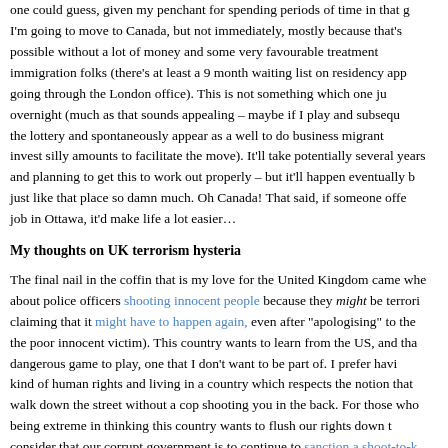one could guess, given my penchant for spending periods of time in that g... I'm going to move to Canada, but not immediately, mostly because that's possible without a lot of money and some very favourable treatment immigration folks (there's at least a 9 month waiting list on residency app going through the London office). This is not something which one j overnight (much as that sounds appealing – maybe if I play and subsequ the lottery and spontaneously appear as a well to do business migrant invest silly amounts to facilitate the move). It'll take potentially several years and planning to get this to work out properly – but it'll happen eventually b just like that place so damn much. Oh Canada! That said, if someone offe job in Ottawa, it'd make life a lot easier…
My thoughts on UK terrorism hysteria
The final nail in the coffin that is my love for the United Kingdom came whe about police officers shooting innocent people because they might be terrori claiming that it might have to happen again, even after "apologising" to the the poor innocent victim). This country wants to learn from the US, and tha dangerous game to play, one that I don't want to be part of. I prefer havi kind of human rights and living in a country which respects the notion that walk down the street without a cop shooting you in the back. For those who being extreme in thinking this country wants to flush our rights down t consider that our corrupt government is to continue to sanction a shoot-to-k even in the face of concern that MPs were not aware of this change in polic ok, if you're an officer and you shoot an innocent man in the head, you'll g holiday. I'm not proud to be British right now.
This week's chocolate ration has been increased to 25g.